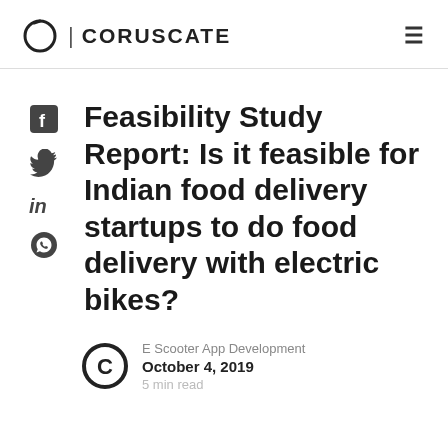CORUSCATE
Feasibility Study Report: Is it feasible for Indian food delivery startups to do food delivery with electric bikes?
E Scooter App Development
October 4, 2019
5 min read